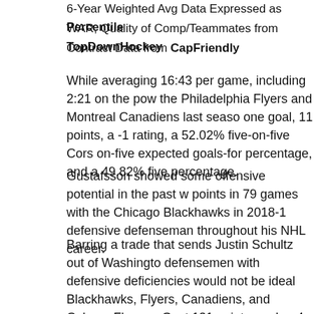6-Year Weighted Avg Data Expressed as Percentile
WAR, Quality of Comp/Teammates from TopDownHockey
Contract Data from CapFriendly
While averaging 16:43 per game, including 2:21 on the pow the Philadelphia Flyers and Montreal Canadiens last seaso one goal, 11 points, a -1 rating, a 52.02% five-on-five Cors on-five expected goals-for percentage, and a 49.82% five percentage.
Gustafsson showed some offensive potential in the past w points in 79 games with the Chicago Blackhawks in 2018-1 defensive defenseman throughout his NHL career.
Barring a trade that sends Justin Schultz out of Washingto defensemen with defensive deficiencies would not be ideal Blackhawks, Flyers, Canadiens, and Calgary Flames, Gust 131 points, and a -4 rating. He will likely make $1.5-1.75 m contract.